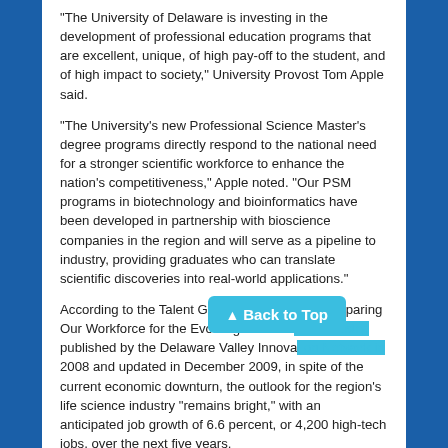“The University of Delaware is investing in the development of professional education programs that are excellent, unique, of high pay-off to the student, and of high impact to society,” University Provost Tom Apple said.
“The University’s new Professional Science Master’s degree programs directly respond to the national need for a stronger scientific workforce to enhance the nation’s competitiveness,” Apple noted. “Our PSM programs in biotechnology and bioinformatics have been developed in partnership with bioscience companies in the region and will serve as a pipeline to industry, providing graduates who can translate scientific discoveries into real-world applications.”
According to the Talent Gap Analysis Report: Preparing Our Workforce for the Evolving Life Scie… published by the Delaware Valley Innova… 2008 and updated in December 2009, in spite of the current economic downturn, the outlook for the region’s life science industry “remains bright,” with an anticipated job growth of 6.6 percent, or 4,200 high-tech jobs, over the next five years.